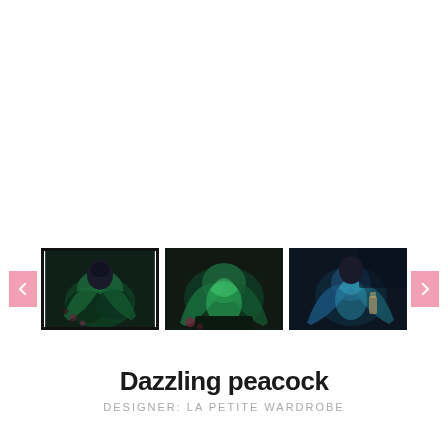[Figure (photo): Three thumbnail photos of a fairy/peacock costume dress in dark teal and green tones, worn by a figure with wings. The first thumbnail is selected (highlighted with a border). Navigation arrows on left and right.]
Dazzling peacock
DESIGNER: LA PETITE WARDROBE